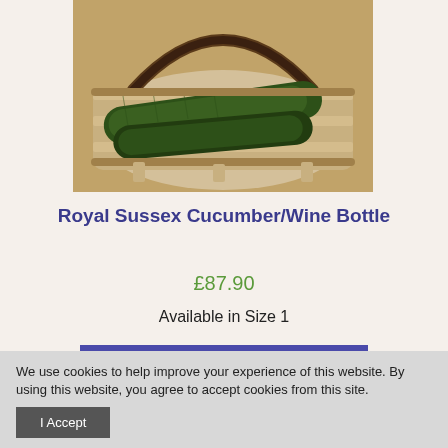[Figure (photo): Photo of two dark green cucumbers inside a wooden Sussex-style trug basket lying on a wooden surface]
Royal Sussex Cucumber/Wine Bottle
£87.90
Available in Size 1
READ MORE
We use cookies to help improve your experience of this website. By using this website, you agree to accept cookies from this site.
I Accept